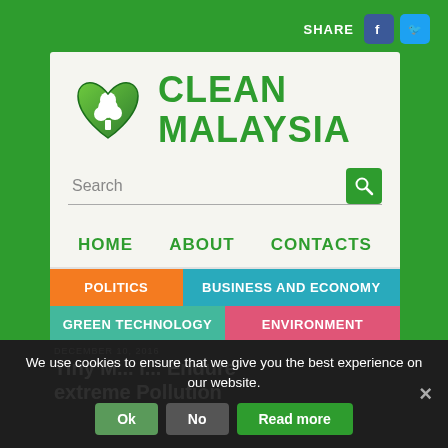[Figure (screenshot): Clean Malaysia website screenshot showing logo, search bar, navigation menu with HOME, ABOUT, CONTACTS, and colored category buttons: POLITICS, BUSINESS AND ECONOMY, GREEN TECHNOLOGY, ENVIRONMENT, COMMODITIES, COMMENT, RESOURCES. Social media share buttons for Facebook and Twitter are in the top right. A cookie consent banner overlays the bottom portion with Ok, No, and Read more buttons.]
SHARE
CLEAN MALAYSIA
Search
HOME
ABOUT
CONTACTS
POLITICS
BUSINESS AND ECONOMY
GREEN TECHNOLOGY
ENVIRONMENT
COMMODITIES
COMMENT
RESOURCES
We use cookies to ensure that we give you the best experience on our website.
DECEMBER 10, 2016
Tiny M... l... Endure extreme Pollution